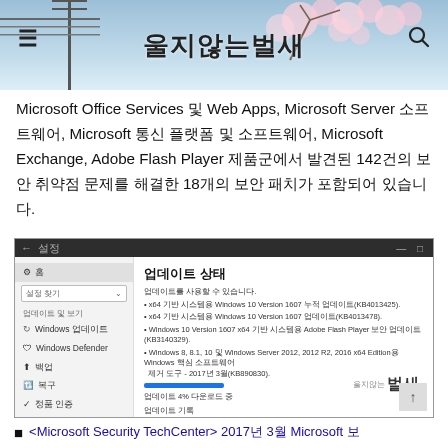울지않는벌새
Microsoft Office Services 및 Web Apps, Microsoft Server 소프트웨어, Microsoft 통신 플랫폼 및 소프트웨어, Microsoft Exchange, Adobe Flash Player 제품군에서 발견된 142건의 보안 취약점 문제를 해결한 18개의 보안 패치가 포함되어 있습니다.
[Figure (screenshot): Windows 10 Update Settings screen (업데이트 상태) showing update progress and settings options in Korean]
<Microsoft Security TechCenter> 2017년 3월 Microsoft 보...